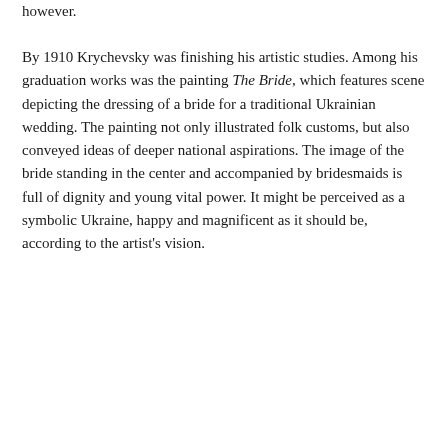however.
By 1910 Krychevsky was finishing his artistic studies. Among his graduation works was the painting The Bride, which features scene depicting the dressing of a bride for a traditional Ukrainian wedding. The painting not only illustrated folk customs, but also conveyed ideas of deeper national aspirations. The image of the bride standing in the center and accompanied by bridesmaids is full of dignity and young vital power. It might be perceived as a symbolic Ukraine, happy and magnificent as it should be, according to the artist's vision.